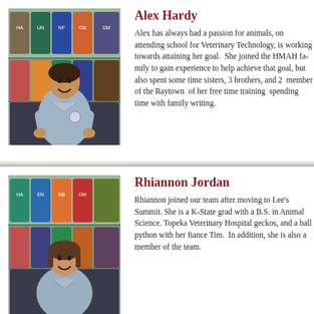[Figure (photo): Photo of Alex Hardy in blue scrubs standing in front of shelves with pet food bags]
Alex Hardy
Alex has always had a passion for animals, on attending school for Veterinary Technology, is working towards attaining her goal. She joined the HMAH family to gain experience to help achieve that goal, but also spent some time sisters, 3 brothers, and 2 member of the Raytown of her free time training spending time with family writing.
[Figure (photo): Photo of Rhiannon Jordan in scrubs standing in front of shelves with pet food bags]
Rhiannon Jordan
Rhiannon joined our team after moving to Lee's Summit. She is a K-State grad with a B.S. in Animal Science. Topeka Veterinary Hospital geckos, and a ball python with her fiance Tim. In addition, she is also a member of the team.